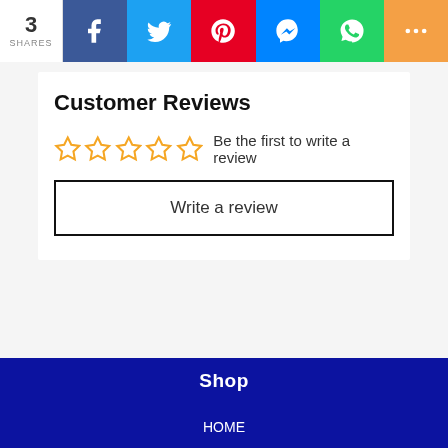3 SHARES | Facebook | Twitter | Pinterest | Messenger | WhatsApp | More
Customer Reviews
☆☆☆☆☆ Be the first to write a review
Write a review
Shop
HOME
Cart
Check Out
Payment
Shipping & Delivery
Return policy
Best Price Challenge
Warranties